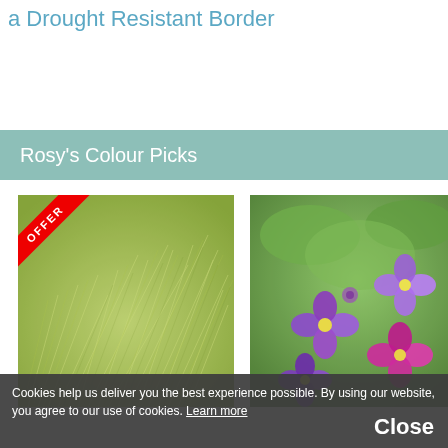a Drought Resistant Border
Rosy's Colour Picks
[Figure (photo): Green feathery ornamental grass with an OFFER ribbon in the top-left corner]
[Figure (photo): Purple and violet flowers (Aubrieta) with green leaves in the background]
Cookies help us deliver you the best experience possible. By using our website, you agree to our use of cookies. Learn more   Close